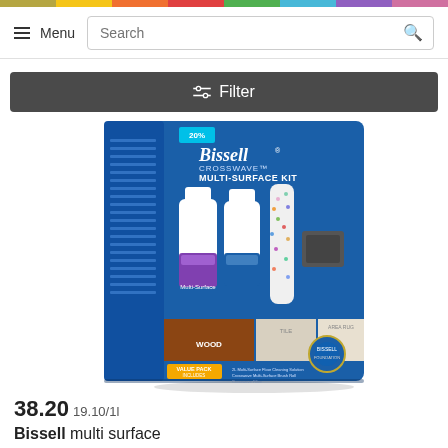Menu | Search
Filter
[Figure (photo): Bissell CrossWave Multi-Surface Kit product box showing two cleaning solution bottles, a brush roll, and a filter, with surface compatibility indicators for wood, tile, and area rug.]
38.20 19.10/1l
Bissell multi surface